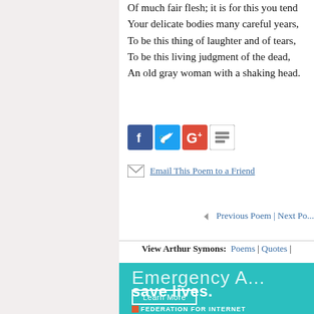Of much fair flesh; it is for this you tend
Your delicate bodies many careful years,
To be this thing of laughter and of tears,
To be this living judgment of the dead,
An old gray woman with a shaking head.
[Figure (infographic): Social share buttons: Facebook (blue), Twitter (light blue), Google+ (red), Reddit/share (white outline)]
Email This Poem to a Friend
Previous Poem | Next Po...
View Arthur Symons: Poems | Quotes |
[Figure (infographic): Teal advertisement banner: 'Emergency A... save lives. Learn More' with Federation for Internet logo]